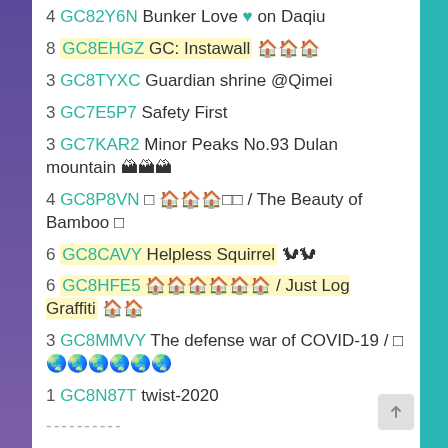4 GC82Y6N  Bunker Love ♥ on Daqiu
8 GC8EHGZ  GC: Instawall 🏠🏠🏠
3 GC8TYXC  Guardian shrine @Qimei
3 GC7E5P7  Safety First
3 GC7KAR2  Minor Peaks No.93 Dulan mountain 🏔🏔🏔
4 GC8P8VN  □ 🏠🏠🏠□□ / The Beauty of Bamboo □
6 GC8CAVY  Helpless Squirrel 🐿🐿
6 GC8HFE5  🏠🏠🏠🏠🏠🏠 / Just Log Graffiti 🏠🏠
3 GC8MMVY  The defense war of COVID-19 / □ 🌏🌏🌏🌏🌏🌏
1 GC8N87T  twist-2020
----------